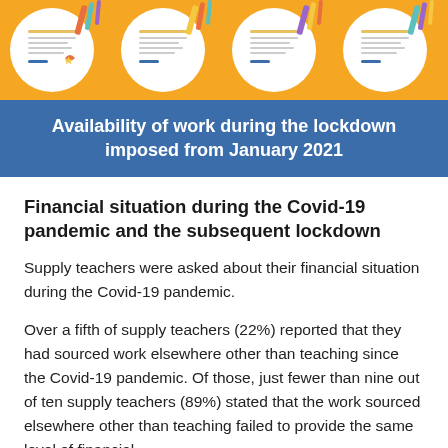[Figure (illustration): Orange banner with four circular certificate/document illustrations arranged in a row]
Availability of work during the lockdown imposed from January 2021
Financial situation during the Covid-19 pandemic and the subsequent lockdown
Supply teachers were asked about their financial situation during the Covid-19 pandemic.
Over a fifth of supply teachers (22%) reported that they had sourced work elsewhere other than teaching since the Covid-19 pandemic. Of those, just fewer than nine out of ten supply teachers (89%) stated that the work sourced elsewhere other than teaching failed to provide the same level of financial